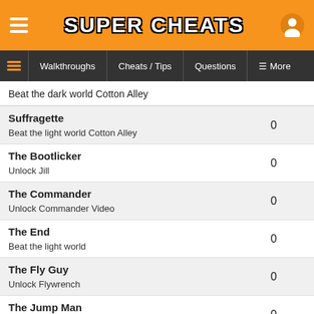SUPER CHEATS
Walkthroughs | Cheats / Tips | Questions | More
Beat the dark world Cotton Alley
| Achievement | Score |
| --- | --- |
| Suffragette
Beat the light world Cotton Alley | 0 |
| The Bootlicker
Unlock Jill | 0 |
| The Commander
Unlock Commander Video | 0 |
| The End
Beat the light world | 0 |
| The Fly Guy
Unlock Flywrench | 0 |
| The Jump Man
Unlock Ogmo | 0 |